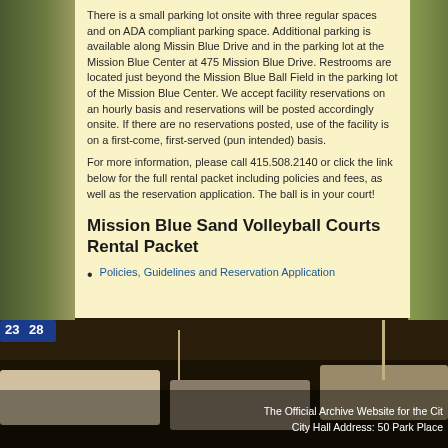There is a small parking lot onsite with three regular spaces and on ADA compliant parking space. Additional parking is available along Missin Blue Drive and in the parking lot at the Mission Blue Center at 475 Mission Blue Drive. Restrooms are located just beyond the Mission Blue Ball Field in the parking lot of the Mission Blue Center. We accept facility reservations on an hourly basis and reservations will be posted accordingly onsite. If there are no reservations posted, use of the facility is on a first-come, first-served (pun intended) basis.
For more information, please call 415.508.2140 or click the link below for the full rental packet including policies and fees, as well as the reservation application. The ball is in your court!
Mission Blue Sand Volleyball Courts Rental Packet
Policies, Guidelines and Reservation Application
[Figure (photo): Street scene background photo showing a downtown street with cars, trees, and buildings in warm late-afternoon light]
The Official Archive Website for the City  City Hall Address: 50 Park Place